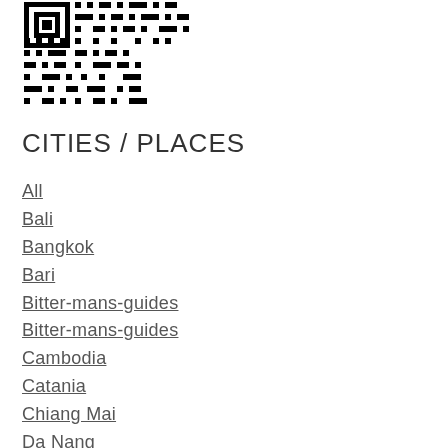[Figure (other): QR code image in black and white]
CITIES / PLACES
All
Bali
Bangkok
Bari
Bitter-mans-guides
Bitter-mans-guides
Cambodia
Catania
Chiang Mai
Da Nang
Finland
Florence
Fort Kochi